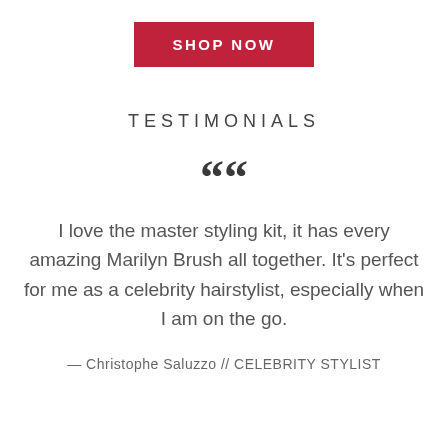[Figure (other): Red 'SHOP NOW' button]
TESTIMONIALS
““
I love the master styling kit, it has every amazing Marilyn Brush all together. It's perfect for me as a celebrity hairstylist, especially when I am on the go.
— Christophe Saluzzo // CELEBRITY STYLIST